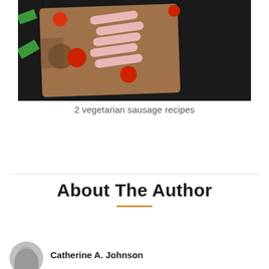[Figure (photo): Food photo showing vegetarian sausages on a wooden cutting board with cherry tomatoes and basil leaves, on a dark wooden background]
2 vegetarian sausage recipes
About The Author
[Figure (illustration): Gray circular avatar/profile placeholder icon]
Catherine A. Johnson